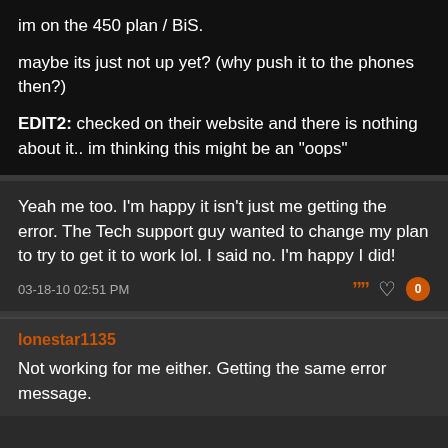im on the 450 plan / BiS.

maybe its just not up yet? (why push it to the phones then?)

EDIT2: checked on their website and there is nothing about it.. im thinking this might be an "oops"
Yeah me too. I'm happy it isn't just me getting the error. The Tech support guy wanted to change my plan to try to get it to work lol. I said no. I'm happy I did!
03-18-10 02:51 PM
lonestar1135
Not working for me either. Getting the same error message.